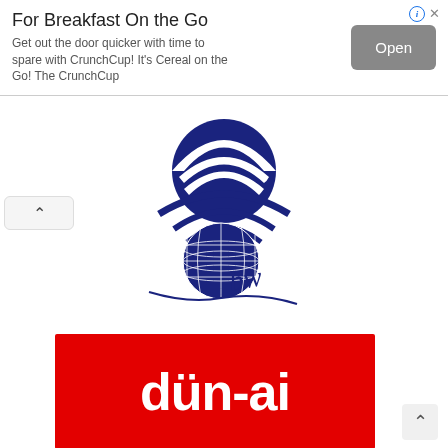[Figure (other): Advertisement banner: 'For Breakfast On the Go' - Get out the door quicker with time to spare with CrunchCup! It's Cereal on the Go! The CrunchCup - with an Open button]
[Figure (logo): BWI organization logo: dark blue dome/hat shape above radio waves and a globe with grid lines, with cursive text 'bw' beneath]
[Figure (logo): Dun-ai logo: white bold text 'dün-ai' on a red background]